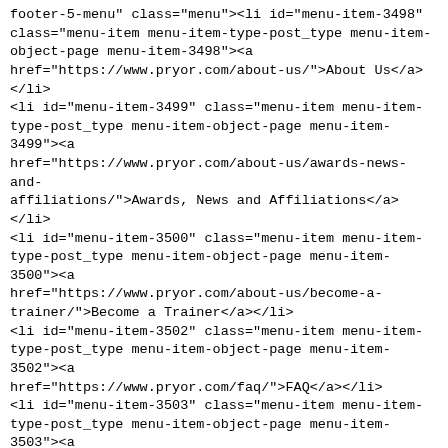footer-5-menu" class="menu"><li id="menu-item-3498" class="menu-item menu-item-type-post_type menu-item-object-page menu-item-3498"><a href="https://www.pryor.com/about-us/">About Us</a></li>
<li id="menu-item-3499" class="menu-item menu-item-type-post_type menu-item-object-page menu-item-3499"><a href="https://www.pryor.com/about-us/awards-news-and-affiliations/">Awards, News and Affiliations</a></li>
<li id="menu-item-3500" class="menu-item menu-item-type-post_type menu-item-object-page menu-item-3500"><a href="https://www.pryor.com/about-us/become-a-trainer/">Become a Trainer</a></li>
<li id="menu-item-3502" class="menu-item menu-item-type-post_type menu-item-object-page menu-item-3502"><a href="https://www.pryor.com/faq/">FAQ</a></li>
<li id="menu-item-3503" class="menu-item menu-item-type-post_type menu-item-object-page menu-item-3503"><a href="https://www.pryor.com/contact-us/">Contact Us</a></li>
<li id="menu-item-3501" class="menu-item menu-item-type-post_type menu-item-object-page menu-item-3501"><a href="https://www.pryor.com/about-us/buyer-satisfaction-guarantee/">Buyer Satisfaction Guarantee</a></li>
<li id="menu-item-3504" class="menu-item menu-item-type-post_type menu-item-object-page menu-item-3504"><a href="https://www.pryor.com/about-us/security/">Security</a></li>
<li id="menu-item-3505" class="menu-item menu-item-